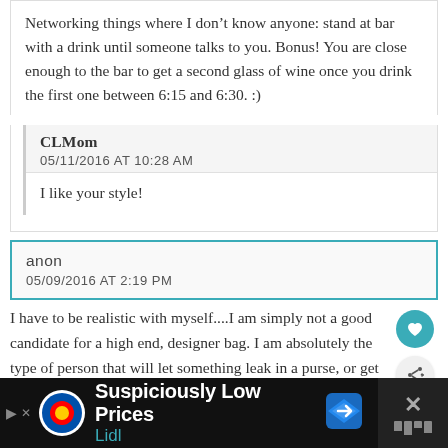Networking things where I don't know anyone: stand at bar with a drink until someone talks to you. Bonus! You are close enough to the bar to get a second glass of wine once you drink the first one between 6:15 and 6:30. :)
CLMom
05/11/2016 AT 10:28 AM
I like your style!
anon
05/09/2016 AT 2:19 PM
I have to be realistic with myself....I am simply not a good candidate for a high end, designer bag. I am absolutely the type of person that will let something leak in a purse, or get crumbs in it, or generally let
[Figure (other): Advertisement bar at bottom: Lidl logo, 'Suspiciously Low Prices' text, road sign icon, close button]